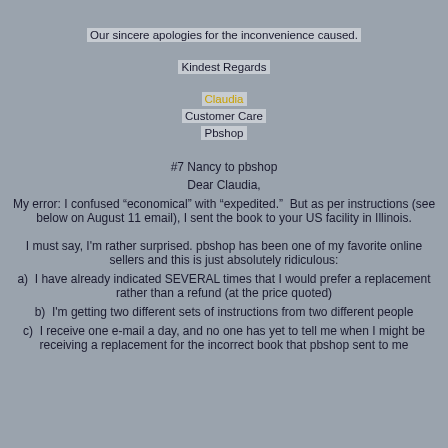Our sincere apologies for the inconvenience caused.
Kindest Regards
Claudia
Customer Care
Pbshop
#7 Nancy to pbshop
Dear Claudia,
My error: I confused "economical" with "expedited."  But as per instructions (see below on August 11 email), I sent the book to your US facility in Illinois.
I must say, I'm rather surprised. pbshop has been one of my favorite online sellers and this is just absolutely ridiculous:
a)  I have already indicated SEVERAL times that I would prefer a replacement rather than a refund (at the price quoted)
b)  I'm getting two different sets of instructions from two different people
c)  I receive one e-mail a day, and no one has yet to tell me when I might be receiving a replacement for the incorrect book that pbshop sent to me